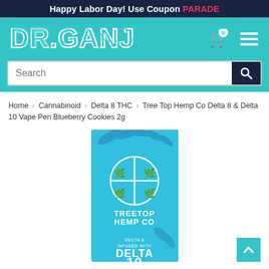Happy Labor Day! Use Coupon PARADE
[Figure (logo): DR.GANJA logo in white bubble letters on teal background, with cart icon showing 0 items and hamburger menu icon]
[Figure (screenshot): Search bar with placeholder text 'Search' and dark navy search button with magnifying glass icon]
Home > Cannabinoid > Delta 8 THC > Tree Top Hemp Co Delta 8 & Delta 10 Vape Pen Blueberry Cookies 2g
[Figure (photo): Treetop Hemp Co product box in bright blue/cyan color with white logo (cross divided into four quadrants with hemp leaf motifs), text reading TREETOP HEMP CO, DELTA 8 INFUSED WITH DELTA 10]